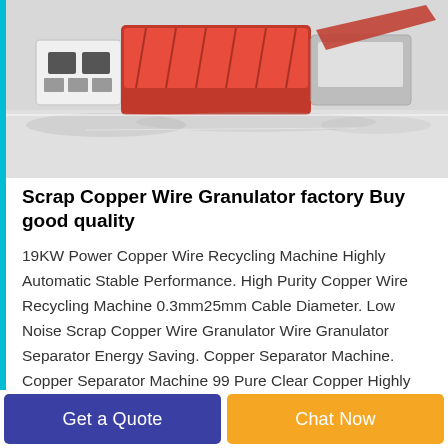[Figure (photo): Industrial scrap copper wire granulator machine, red and silver, on white reflective floor]
Scrap Copper Wire Granulator factory Buy good quality
19KW Power Copper Wire Recycling Machine Highly Automatic Stable Performance. High Purity Copper Wire Recycling Machine 0.3mm25mm Cable Diameter. Low Noise Scrap Copper Wire Granulator Wire Granulator Separator Energy Saving. Copper Separator Machine. Copper Separator Machine 99 Pure Clear Copper Highly Automatic
Get a Quote
Chat Now